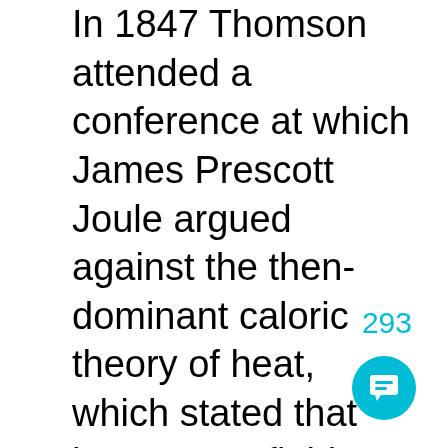In 1847 Thomson attended a conference at which James Prescott Joule argued against the then-dominant caloric theory of heat, which stated that heat was a fluid, named “caloric,” that repelled itself and thus would tend to flow to where it wasn’t (i.e., to colder objects). Joule was having little success, but Thomson became intrigued and eventually during the mid 1850s the two collaborated, mostly by mail, with Joule doing the experimental work and Thomson suggesting new experiments and
293